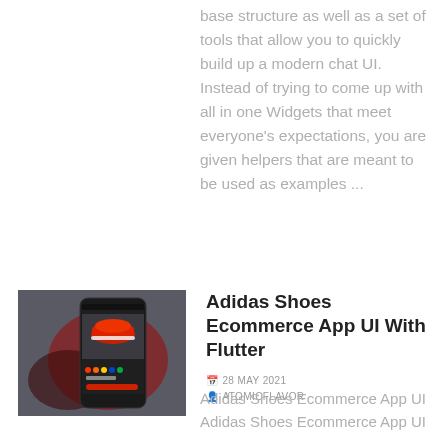base structure as well as a set of tools that allow you to quickly build up a modern chat UI. Instead of trying to come up with all in one Widgets that meet everyone's expectations, you are given helpers that are meant to be used as examples ...
[Figure (screenshot): Screenshot of a mobile app showing Adidas shoe ecommerce UI with a red sneaker on a dark background]
Adidas Shoes Ecommerce App UI With Flutter
28 MAY 2021
ATOMICFLAVOR
Adidas Shoes Ecommerce App UI
Adidas Shoes Ecommerce App UI